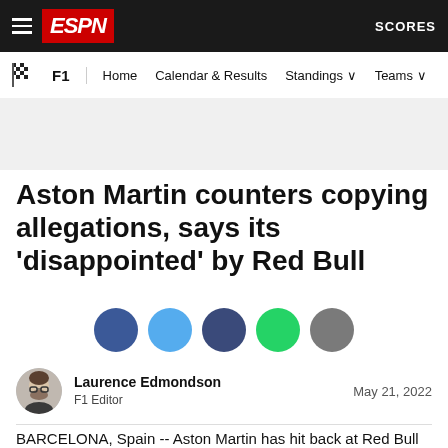ESPN F1 — Home | Calendar & Results | Standings | Teams | SCORES
Aston Martin counters copying allegations, says its 'disappointed' by Red Bull
[Figure (infographic): Row of 5 social sharing circles: Facebook (dark blue), Twitter (light blue), Email/LinkedIn (dark navy), WhatsApp (green), More (gray)]
Laurence Edmondson — F1 Editor — May 21, 2022
BARCELONA, Spain -- Aston Martin has hit back at Red Bull